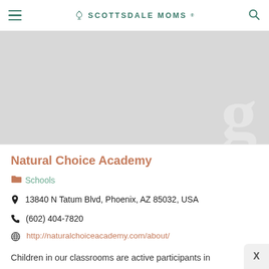SCOTTSDALE MOMS
[Figure (photo): Gray placeholder image area with a faint large letter or watermark visible in the bottom right corner]
Natural Choice Academy
Schools
13840 N Tatum Blvd, Phoenix, AZ 85032, USA
(602) 404-7820
http://naturalchoiceacademy.com/about/
Children in our classrooms are active participants in